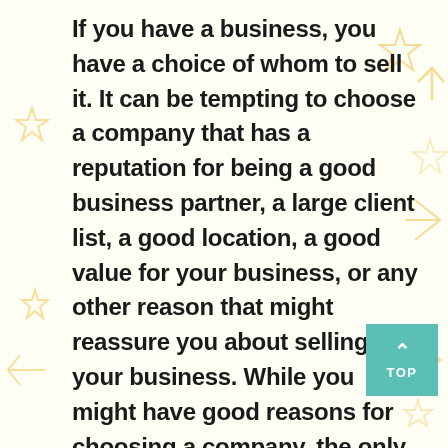If you have a business, you have a choice of whom to sell it. It can be tempting to choose a company that has a reputation for being a good business partner, a large client list, a good location, a good value for your business, or any other reason that might reassure you about selling your business. While you might have good reasons for choosing a company, the only way to know if a company is a good match for your business is to get to know them. That said, you can also choose to take the assistance of experienced bankers who can help you with the serious thought process required to achieve desired goals. Similarly, business buyers can take the help of such banks to get business
[Figure (other): Teal/green square button with upward chevron arrow and 'TOP' text, used as a scroll-to-top navigation element]
[Figure (illustration): Decorative golden/yellow star and geometric arrow shapes scattered around the page borders as background decoration]